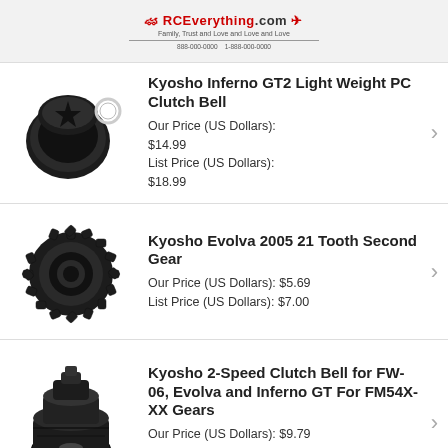RCEverything.com
Kyosho Inferno GT2 Light Weight PC Clutch Bell
Our Price (US Dollars): $14.99
List Price (US Dollars): $18.99
Kyosho Evolva 2005 21 Tooth Second Gear
Our Price (US Dollars): $5.69
List Price (US Dollars): $7.00
Kyosho 2-Speed Clutch Bell for FW-06, Evolva and Inferno GT For FM54X-XX Gears
Our Price (US Dollars): $9.79
List Price (US Dollars): $12.00
Kyosho FW-06 and FW-